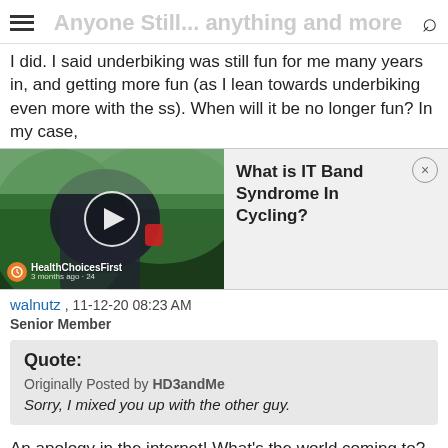Anyone Still... anything and more
I did. I said underbiking was still fun for me many years in, and getting more fun (as I lean towards underbiking even more with the ss). When will it be no longer fun? In my case,
[Figure (screenshot): Video thumbnail of cyclist with play button overlay, showing HealthChoicesFirst branding, alongside an advertisement panel titled 'What is IT Band Syndrome In Cycling?' with a close button]
walnutz , 11-12-20 08:23 AM
Senior Member
Quote:
Originally Posted by HD3andMe
Sorry, I mixed you up with the other guy.
An apology in the internet! What's the world coming to? 😊
Reply